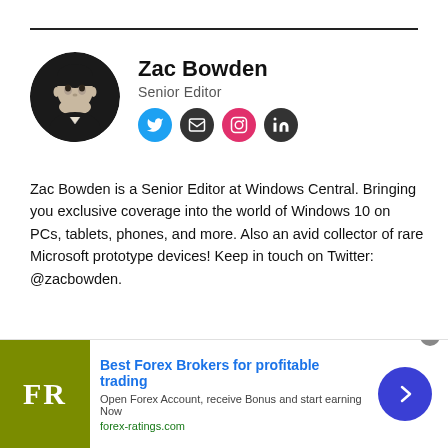[Figure (photo): Circular black and white headshot photo of Zac Bowden]
Zac Bowden
Senior Editor
[Figure (infographic): Social media icons: Twitter (blue), Email (dark), Instagram (pink/red), LinkedIn (dark)]
Zac Bowden is a Senior Editor at Windows Central. Bringing you exclusive coverage into the world of Windows 10 on PCs, tablets, phones, and more. Also an avid collector of rare Microsoft prototype devices! Keep in touch on Twitter: @zacbowden.
[Figure (infographic): Advertisement banner: Best Forex Brokers for profitable trading - forex-ratings.com]